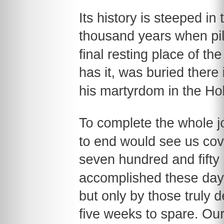Its history is steeped in tradition of over a thousand years when pilgrims came to visit the final resting place of the Apostle who, as legend has it, was buried there in the 9th century after his martyrdom in the Holy Land.
To complete the whole journey from beginning to end would see us cover a distance of over seven hundred and fifty km, a feat often accomplished these days without interruption, but only by those truly dedicated and with over five weeks to spare. Our challenge will be much more modest with a choice of two distances on the final journey into Santiago.
The first is a walk of 87km from the town of Portomarin to Santiago, and the second is more strenuous, as it covers a longer distance in the same five days of walking. You will decide which walk best suits you.